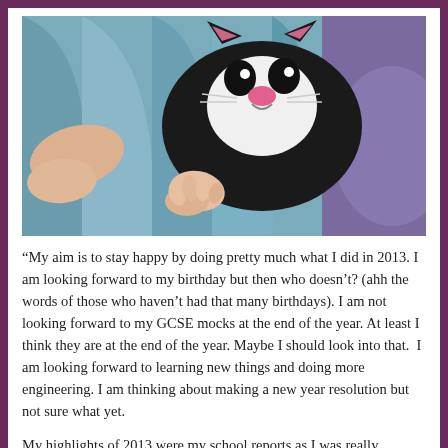[Figure (photo): A child lying on a purple sofa wrapped in a teal/grey blanket, wearing a black cat onesie with white face details and pink nose. The child's arms and hands are visible.]
“My aim is to stay happy by doing pretty much what I did in 2013. I am looking forward to my birthday but then who doesn’t? (ahh the words of those who haven’t had that many birthdays). I am not looking forward to my GCSE mocks at the end of the year. At least I think they are at the end of the year. Maybe I should look into that.  I am looking forward to learning new things and doing more engineering. I am thinking about making a new year resolution but not sure what yet.
My highlights of 2013 were my school reports as I was really